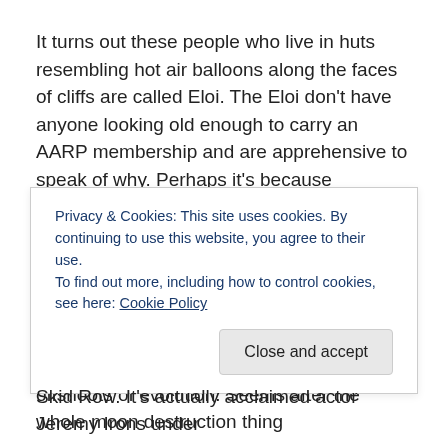It turns out these people who live in huts resembling hot air balloons along the faces of cliffs are called Eloi. The Eloi don't have anyone looking old enough to carry an AARP membership and are apprehensive to speak of why. Perhaps it's because creatures resembling something that would belong in The Mummy Returns pop up from the sand to capture whatever slow moving prey they can and return to for an underground feast.
The creatures, called Morlocks, are the offshoots of evolution. Seems after the whole moon destruction thing...
Privacy & Cookies: This site uses cookies. By continuing to use this website, you agree to their use. To find out more, including how to control cookies, see here: Cookie Policy
Skid Row. It's actually acclaimed actor Jeremy Irons under